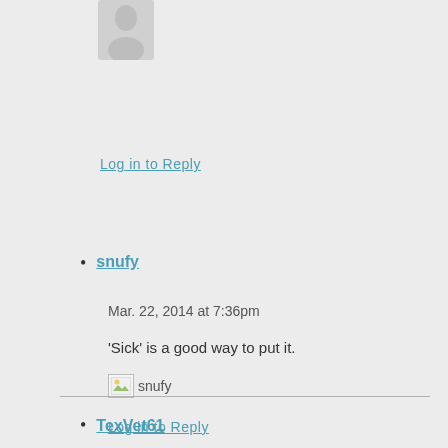[Figure (illustration): Gray silhouette avatar icon of a person at top of page]
Log in to Reply
snufy
Mar. 22, 2014 at 7:36pm
'Sick' is a good way to put it.
[Figure (illustration): Broken image placeholder with text 'snufy']
Log in to Reply
TexVet61